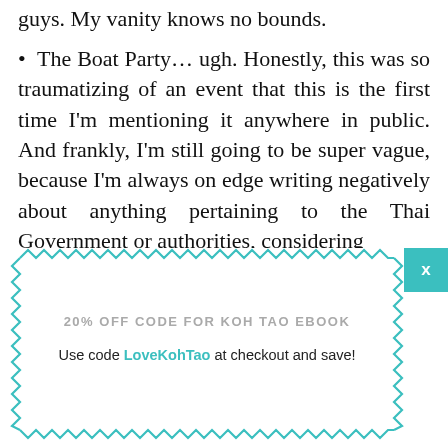guys. My vanity knows no bounds.
The Boat Party… ugh. Honestly, this was so traumatizing of an event that this is the first time I'm mentioning it anywhere in public. And frankly, I'm still going to be super vague, because I'm always on edge writing negatively about anything pertaining to the Thai Government or authorities, considering
[Figure (infographic): Promotional popup box with zigzag/dashed teal border and close button. Contains text: '20% OFF CODE FOR KOH TAO EBOOK' and 'Use code LoveKohTao at checkout and save!']
mostly long-term expats. We boarded the boat with much elation and enjoyed our fun at sea for about an hour before being approached by a police vessel which boarded the boat and forced it back to a